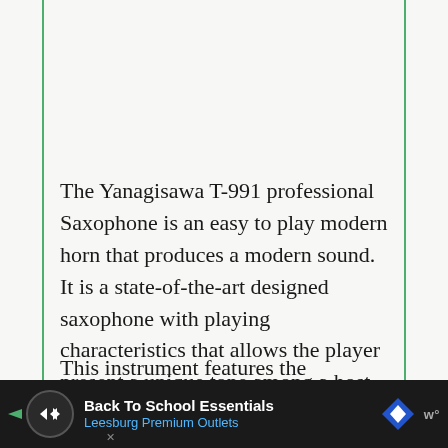The Yanagisawa T-991 professional Saxophone is an easy to play modern horn that produces a modern sound. It is a state-of-the-art designed saxophone with playing characteristics that allows the player present a unique tone among a host of saxophonists.
This instrument features the Yanagisawa...
[Figure (other): Advertisement banner: Back To School Essentials - Leesburg Premium Outlets, with navigation arrows and brand icon]